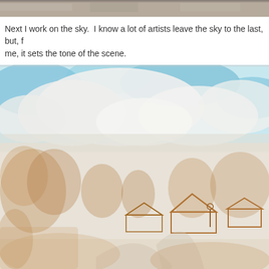[Figure (photo): Partial top edge of a watercolor painting showing a sky with blue tones and clouds, cropped at top of page]
Next I work on the sky.  I know a lot of artists leave the sky to the last, but, for me, it sets the tone of the scene.
[Figure (photo): A work-in-progress watercolor/mixed media painting showing a rural landscape scene: blue sky with white fluffy clouds at top, and a pencil/crayon sketch in brown/sienna tones below depicting trees, farm buildings/structures, and a winding path or road in the foreground]